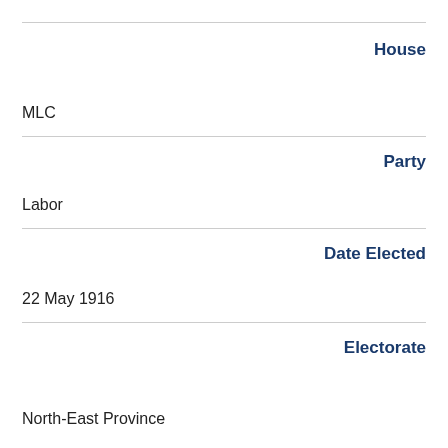House
MLC
Party
Labor
Date Elected
22 May 1916
Electorate
North-East Province